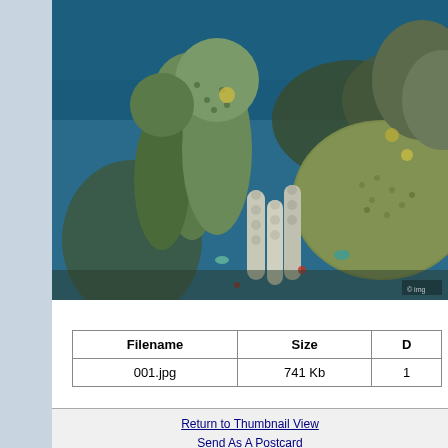[Figure (photo): Underwater coral reef photograph showing green and white coral formations against a blue ocean background. Various coral species including brain coral and pillar coral are visible.]
| Filename | Size | D |
| --- | --- | --- |
| 001.jpg | 741 Kb | 1 |
Return to Thumbnail View
Send As A Postcard